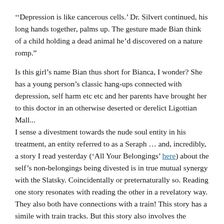‘‘Depression is like cancerous cells.’ Dr. Silvert continued, his long hands together, palms up. The gesture made Bian think of a child holding a dead animal he’d discovered on a nature romp.”
Is this girl’s name Bian thus short for Bianca, I wonder? She has a young person’s classic hang-ups connected with depression, self harm etc etc and her parents have brought her to this doctor in an otherwise deserted or derelict Ligottian Mall...
I sense a divestment towards the nude soul entity in his treatment, an entity referred to as a Seraph … and, incredibly, a story I read yesterday (‘All Your Belongings’ here) about the self’s non-belongings being divested is in true mutual synergy with the Slatsky. Coincidentally or preternaturally so. Reading one story resonates with reading the other in a revelatory way. They also both have connections with a train! This story has a simile with train tracks. But this story also involves the symbols of Ligottian